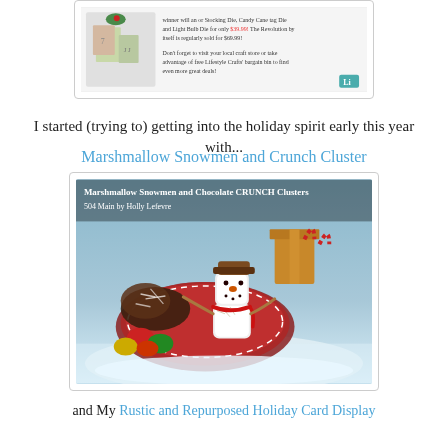[Figure (screenshot): Partial screenshot of a blog post or product page showing craft items with small images and text about Lifestyle Crafts products. Includes a teal/blue icon in bottom right corner.]
I started (trying to) getting into the holiday spirit early this year with...
Marshmallow Snowmen and Crunch Cluster
[Figure (photo): Photo of a plate with a marshmallow snowman decorated with a Reese's cup hat, red licorice scarf, and chocolate chips for face, surrounded by chocolate crunch clusters with coconut, colorful foil-wrapped chocolates, and candy canes in the background on fake snow. Text overlay reads: 'Marshmallow Snowmen and Chocolate CRUNCH Clusters 504 Main by Holly Lefevre']
and My Rustic and Repurposed Holiday Card Display